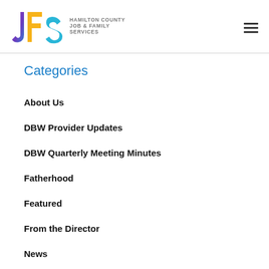Hamilton County Job & Family Services
Categories
About Us
DBW Provider Updates
DBW Quarterly Meeting Minutes
Fatherhood
Featured
From the Director
News